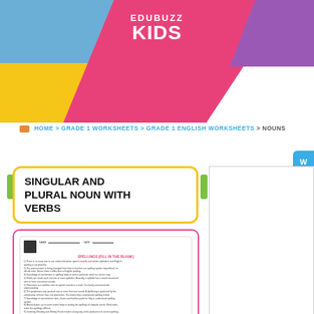[Figure (logo): EduBuzz Kids logo with geometric colored shapes (blue, yellow, pink, purple) in header]
HOME > GRADE 1 WORKSHEETS > GRADE 1 ENGLISH WORKSHEETS > NOUNS
SINGULAR AND PLURAL NOUN WITH VERBS
[Figure (screenshot): Preview thumbnail of a worksheet with title SPELLINGS (FILL IN THE BLANK) and body text content lines]